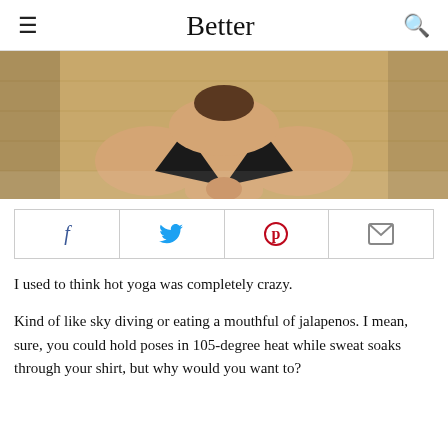Better
[Figure (photo): Woman in black bikini top in a sauna, hands pressed together in prayer pose, wooden wall behind her.]
[Figure (infographic): Social sharing bar with Facebook, Twitter, Pinterest, and email icons.]
I used to think hot yoga was completely crazy.
Kind of like sky diving or eating a mouthful of jalapenos. I mean, sure, you could hold poses in 105-degree heat while sweat soaks through your shirt, but why would you want to?